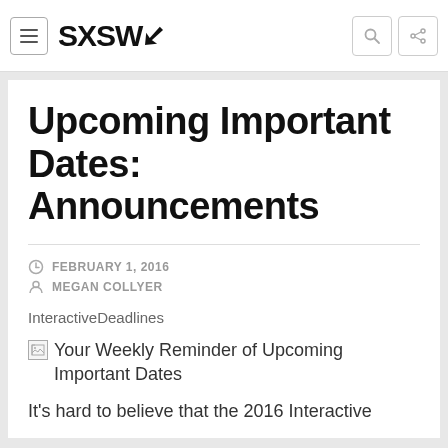SXSW
Upcoming Important Dates: Announcements
FEBRUARY 1, 2016
MEGAN COLLYER
InteractiveDeadlines
[Figure (other): Broken image placeholder for: Your Weekly Reminder of Upcoming Important Dates]
It's hard to believe that the 2016 Interactive